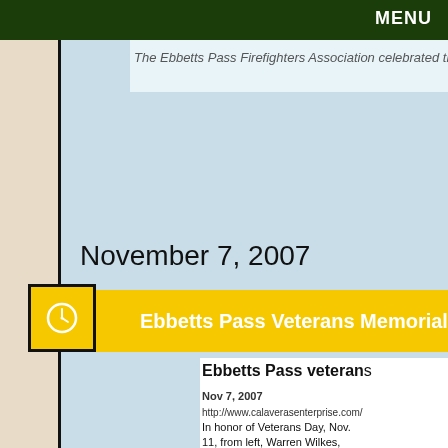MENU
The Ebbetts Pass Firefighters Association celebrated the c
November 7, 2007
Ebbetts Pass Veterans Memorial District
Ebbetts Pass veterans
Nov 7, 2007
http://www.calaverasenterprise.com/
In honor of Veterans Day, Nov. 11, from left, Warren Wilkes, Ebbetts Pass Fire Department fire chief, and Ebbetts Pass Veterans